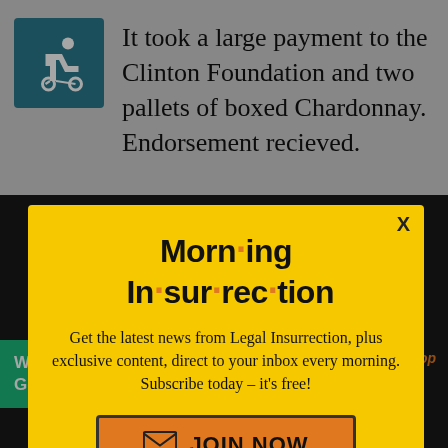[Figure (illustration): Wheelchair accessibility icon in teal/blue square]
It took a large payment to the Clinton Foundation and two pallets of boxed Chardonnay. Endorsement recieved.
[Figure (screenshot): Modal popup overlay with yellow background for Morning Insurrection newsletter signup. Contains title 'Morn·ing In·sur·rec·tion', subscription pitch text, and orange JOIN NOW button.]
in your back, not worry. It's just the knife.
[Figure (screenshot): Fiverr advertisement banner in green: Working from home? Get your projects done on fiverr]
kjon | April 30, 2020 at 11:21 am